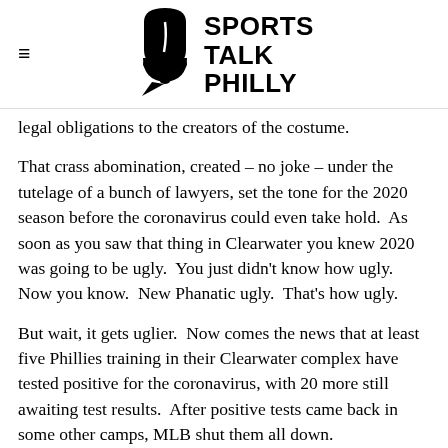Sports Talk Philly
legal obligations to the creators of the costume.
That crass abomination, created – no joke – under the tutelage of a bunch of lawyers, set the tone for the 2020 season before the coronavirus could even take hold.  As soon as you saw that thing in Clearwater you knew 2020 was going to be ugly.  You just didn't know how ugly.  Now you know.  New Phanatic ugly.  That's how ugly.
But wait, it gets uglier.  Now comes the news that at least five Phillies training in their Clearwater complex have tested positive for the coronavirus, with 20 more still awaiting test results.  After positive tests came back in some other camps, MLB shut them all down.  Temporarily, they say.  Just like the uniform ad patches and universal DH will all be temporary.  Soon the world will be righted, baseball would have us believe.  And when it is, the ad